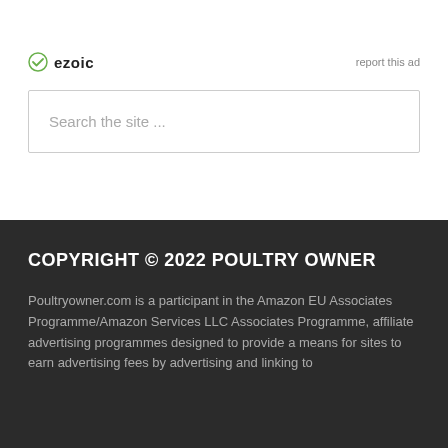[Figure (logo): Ezoic logo with green circle icon and bold 'ezoic' text]
report this ad
Search the site ...
COPYRIGHT © 2022 POULTRY OWNER
Poultryowner.com is a participant in the Amazon EU Associates Programme/Amazon Services LLC Associates Programme, affiliate advertising programmes designed to provide a means for sites to earn advertising fees by advertising and linking to